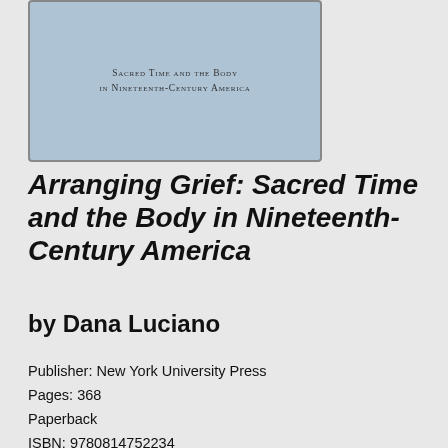[Figure (illustration): Book cover for 'Arranging Grief: Sacred Time and the Body in Nineteenth-Century America' with light blue background and subtitle text in small caps]
Arranging Grief: Sacred Time and the Body in Nineteenth-Century America
by Dana Luciano
Publisher: New York University Press
Pages: 368
Paperback
ISBN: 9780814752234
Add to your want to read list
I haven't read this
Add to your favorites